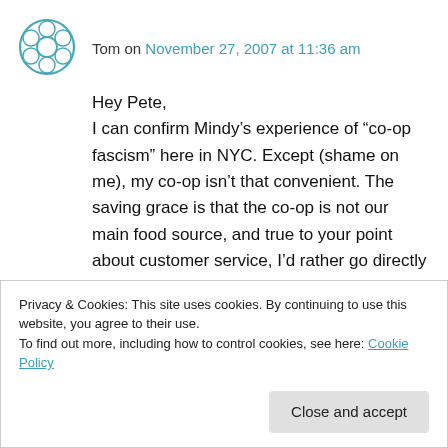Tom on November 27, 2007 at 11:36 am
Hey Pete,
I can confirm Mindy’s experience of “co-op fascism” here in NYC. Except (shame on me), my co-op isn’t that convenient. The saving grace is that the co-op is not our main food source, and true to your point about customer service, I’d rather go directly to a small family farmer for my food (not so convenient, either) because s/he knows the importance of customer service. So
Privacy & Cookies: This site uses cookies. By continuing to use this website, you agree to their use.
To find out more, including how to control cookies, see here: Cookie Policy